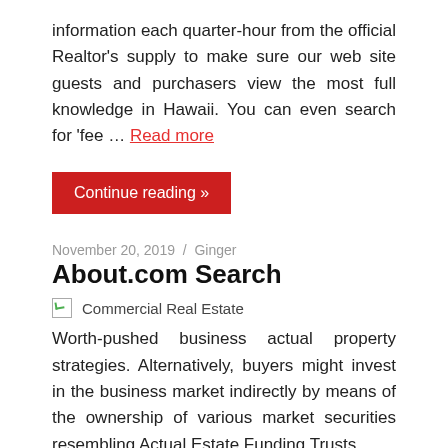information each quarter-hour from the official Realtor's supply to make sure our web site guests and purchasers view the most full knowledge in Hawaii. You can even search for 'fee … Read more
Continue reading »
November 20, 2019 / Ginger
About.com Search
[Figure (photo): Broken image placeholder with caption: Commercial Real Estate]
Worth-pushed business actual property strategies. Alternatively, buyers might invest in the business market indirectly by means of the ownership of various market securities resembling Actual Estate Funding Trusts